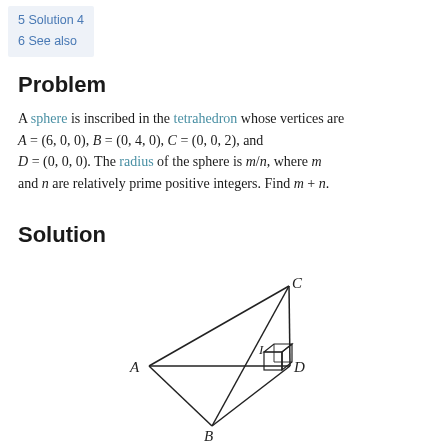5 Solution 4
6 See also
Problem
A sphere is inscribed in the tetrahedron whose vertices are A = (6,0,0), B = (0,4,0), C = (0,0,2), and D = (0,0,0). The radius of the sphere is m/n, where m and n are relatively prime positive integers. Find m + n.
Solution
[Figure (engineering-diagram): A 3D diagram of a tetrahedron with vertices labeled A, B, C, D and a small cube at the origin D representing the inscribed sphere contact point I.]